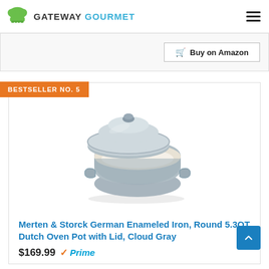GATEWAY GOURMET
Buy on Amazon
BESTSELLER NO. 5
[Figure (photo): Gray enameled cast iron Dutch oven pot with lid slightly ajar, showing cream interior, Cloud Gray exterior, with handle visible.]
Merten & Storck German Enameled Iron, Round 5.3QT Dutch Oven Pot with Lid, Cloud Gray
$169.99 Prime